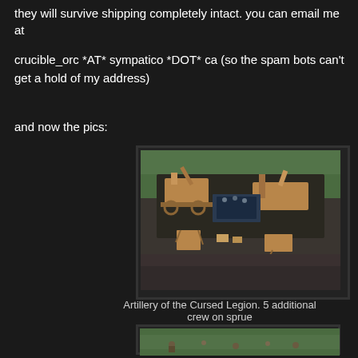they will survive shipping completely intact.   you can email me  at
crucible_orc *AT* sympatico *DOT* ca  (so the spam bots can't get a hold of my address)
and now the pics:
[Figure (photo): Tabletop miniature artillery pieces of the Cursed Legion displayed on a terrain board with green grass mat and dark field, including wooden catapult-style siege weapons and crew figures]
Artillery of the Cursed Legion.  5 additional crew on sprue
[Figure (photo): Partial view of another miniature scene, cropped at bottom of page]